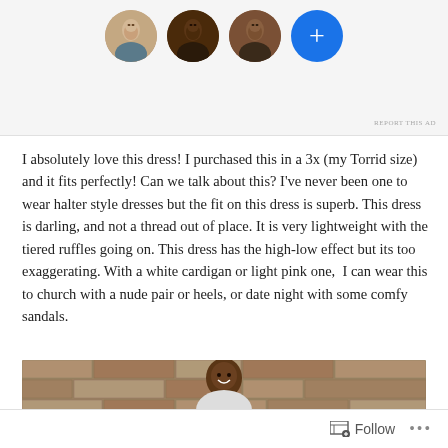[Figure (photo): Top bar showing three circular avatar photos and a blue plus button for adding more]
REPORT THIS AD
I absolutely love this dress! I purchased this in a 3x (my Torrid size) and it fits perfectly! Can we talk about this? I've never been one to wear halter style dresses but the fit on this dress is superb. This dress is darling, and not a thread out of place. It is very lightweight with the tiered ruffles going on. This dress has the high-low effect but its too exaggerating. With a white cardigan or light pink one,  I can wear this to church with a nude pair or heels, or date night with some comfy sandals.
[Figure (photo): Partial photo of a smiling woman standing in front of a stone wall, wearing a dress]
Follow ...